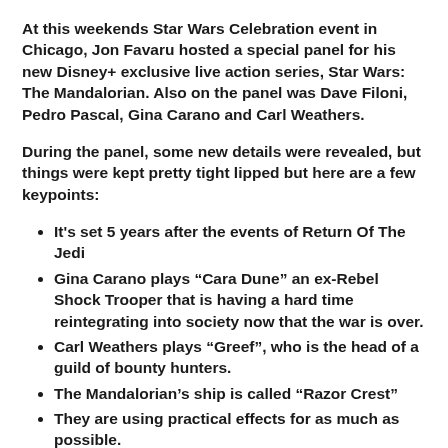At this weekends Star Wars Celebration event in Chicago, Jon Favaru hosted a special panel for his new Disney+ exclusive live action series, Star Wars: The Mandalorian. Also on the panel was Dave Filoni, Pedro Pascal, Gina Carano and Carl Weathers.
During the panel, some new details were revealed, but things were kept pretty tight lipped but here are a few keypoints:
It's set 5 years after the events of Return Of The Jedi
Gina Carano plays “Cara Dune” an ex-Rebel Shock Trooper that is having a hard time reintegrating into society now that the war is over.
Carl Weathers plays “Greef”, who is the head of a guild of bounty hunters.
The Mandalorian’s ship is called “Razor Crest”
They are using practical effects for as much as possible.
They used the 501st Legion to play additional Stormtroopers.